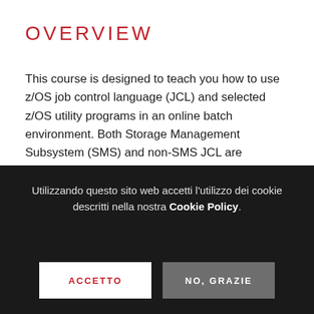OVERVIEW
This course is designed to teach you how to use z/OS job control language (JCL) and selected z/OS utility programs in an online batch environment. Both Storage Management Subsystem (SMS) and non-SMS JCL are discussed. Machine lab exercises complement the lecture material.
AUDIENCE
Utilizzando questo sito web accetti l'utilizzo dei cookie descritti nella nostra Cookie Policy.
ACCETTO
NO, GRAZIE